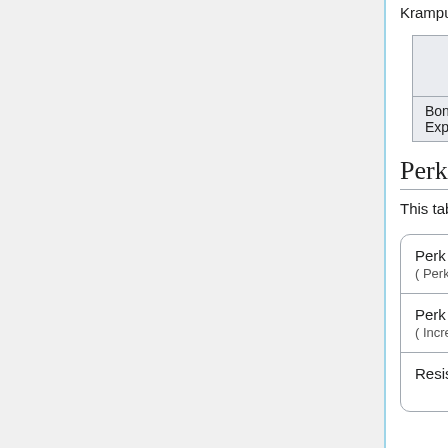Krampus) and Crawlers with the weapons that use on-perk damage types.
|  | Normal | Hard | Suicidal | H... E... |
| --- | --- | --- | --- | --- |
| Bonus Experience | 2 | 3 | 3 | 5 |
Perk Bonuses
This table represents the passive stat bonuses the Firebug receives.
| Category | Value |
| --- | --- |
| Perk Weapon ( Perk weapon | max. |
| Perk Weapon ( Increase perk | max. |
| Resist ZED | max. |